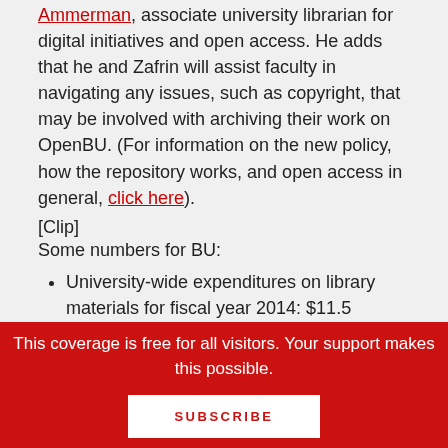Ammerman, associate university librarian for digital initiatives and open access. He adds that he and Zafrin will assist faculty in navigating any issues, such as copyright, that may be involved with archiving their work on OpenBU. (For information on the new policy, how the repository works, and open access in general, click here).
[Clip]
Some numbers for BU:
University-wide expenditures on library materials for fiscal year 2014: $11.5 million.
Eighty-five percent of the total, or
This coverage is free for all visitors. Your support makes this possible.
SUBSCRIBE